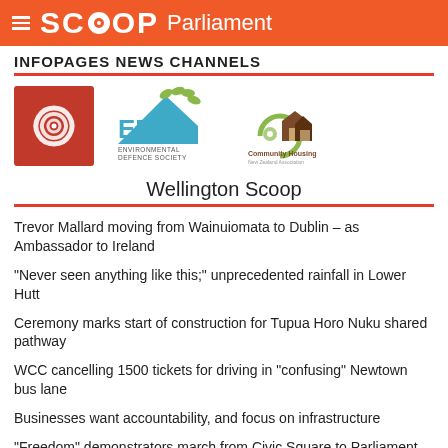SCOOP Parliament
INFOPAGES NEWS CHANNELS
[Figure (logo): Three logos: red swirl logo, EDS Environmental Defence Society logo, Community Housing logo]
Wellington Scoop
Trevor Mallard moving from Wainuiomata to Dublin – as Ambassador to Ireland
“Never seen anything like this;” unprecedented rainfall in Lower Hutt
Ceremony marks start of construction for Tupua Horo Nuku shared pathway
WCC cancelling 1500 tickets for driving in “confusing” Newtown bus lane
Businesses want accountability, and focus on infrastructure
“Freedom” demonstrators march from Civic Square to Parliament
Hundreds of anti-protest demonstrators watch arrival of “Freedom”